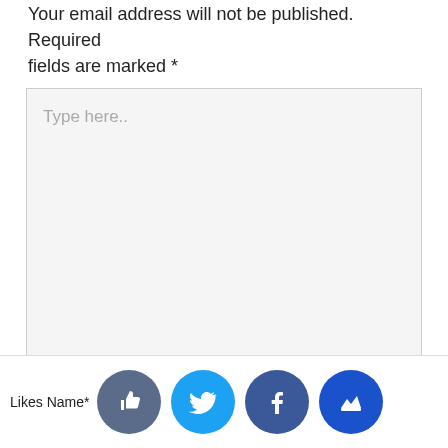Your email address will not be published. Required fields are marked *
[Figure (screenshot): Large text input area with placeholder text 'Type here..' and a resize handle in the bottom-right corner]
Likes   Name*
[Figure (illustration): Social sharing buttons row: thumbs-up (dark blue), Twitter bird (cyan), Facebook f (dark blue), crown icon (blue)]